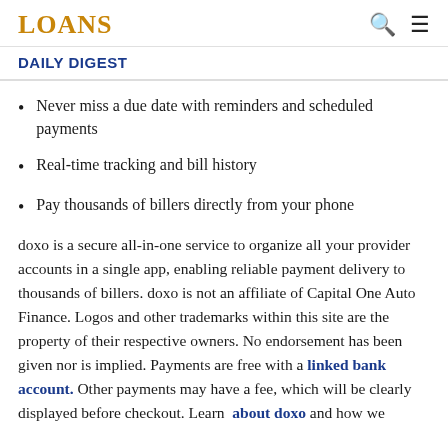LOANS
DAILY DIGEST
Never miss a due date with reminders and scheduled payments
Real-time tracking and bill history
Pay thousands of billers directly from your phone
doxo is a secure all-in-one service to organize all your provider accounts in a single app, enabling reliable payment delivery to thousands of billers. doxo is not an affiliate of Capital One Auto Finance. Logos and other trademarks within this site are the property of their respective owners. No endorsement has been given nor is implied. Payments are free with a linked bank account. Other payments may have a fee, which will be clearly displayed before checkout. Learn about doxo and how we